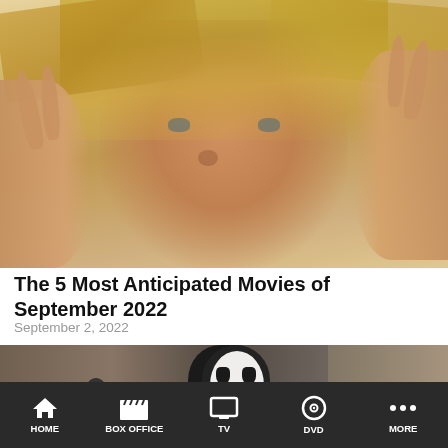[Figure (photo): Close-up photo of a young blonde woman with hair across her face, hands raised on both sides, looking distressed or scared]
The 5 Most Anticipated Movies of September 2022
September 2, 2022
[Figure (photo): Partially visible image of a person wearing a white ghost/Scream mask with black robe]
HOME   BOX OFFICE   TV   DVD   MORE